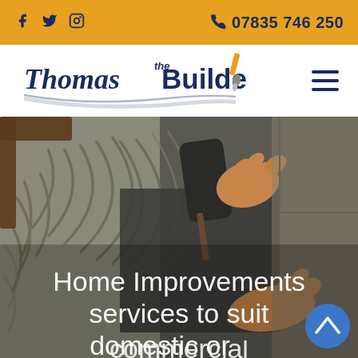f  Twitter  Instagram  07835 746 250
[Figure (logo): Thomas the Builder logo with paintbrush graphic and swish underline]
[Figure (photo): Person laying floor tiles, pressing a dark tile into adhesive mortar with a rubber mallet, showing ridged adhesive pattern]
Home Improvements services to suit domestic or commercial